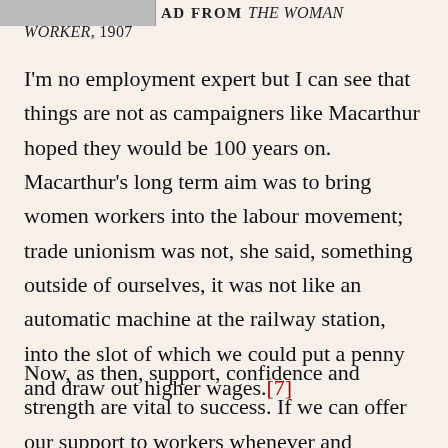[Figure (photo): Partial image of a historical document or photograph, cropped at top left corner]
AD FROM THE WOMAN WORKER, 1907
I'm no employment expert but I can see that things are not as campaigners like Macarthur hoped they would be 100 years on. Macarthur's long term aim was to bring women workers into the labour movement; trade unionism was not, she said, something outside of ourselves, it was not like an automatic machine at the railway station, into the slot of which we could put a penny and draw out higher wages.[7]
Now, as then, support, confidence and strength are vital to success. If we can offer our support to workers whenever and however we can so that they